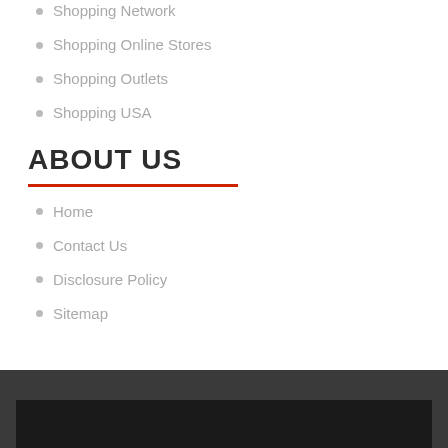Shopping Network
Shopping Online Stores
Shopping Outlets
Shopping USA
ABOUT US
Home
Contact Us
Disclosure Policy
Sitemap